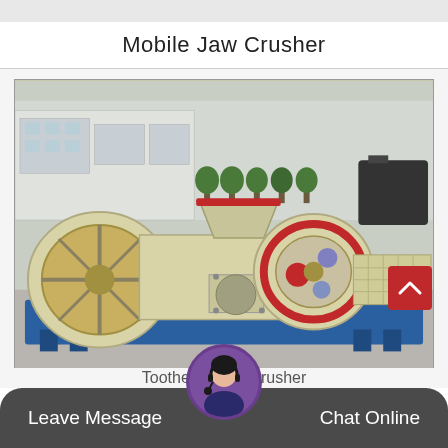Mobile Jaw Crusher
[Figure (photo): A large industrial mobile jaw crusher machine with cream/beige colored body, red-accented flywheel, mounted on a blue steel frame/chassis, photographed outdoors in an industrial yard with factory buildings in background.]
Toothed Roller Crusher
Leave Message   Chat Online